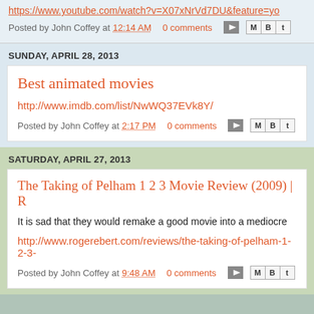https://www.youtube.com/watch?v=X07xNrVd7DU&feature=yo
Posted by John Coffey at 12:14 AM   0 comments
SUNDAY, APRIL 28, 2013
Best animated movies
http://www.imdb.com/list/NwWQ37EVk8Y/
Posted by John Coffey at 2:17 PM   0 comments
SATURDAY, APRIL 27, 2013
The Taking of Pelham 1 2 3 Movie Review (2009) | R
It is sad that they would remake a good movie into a mediocre
http://www.rogerebert.com/reviews/the-taking-of-pelham-1-2-3-
Posted by John Coffey at 9:48 AM   0 comments